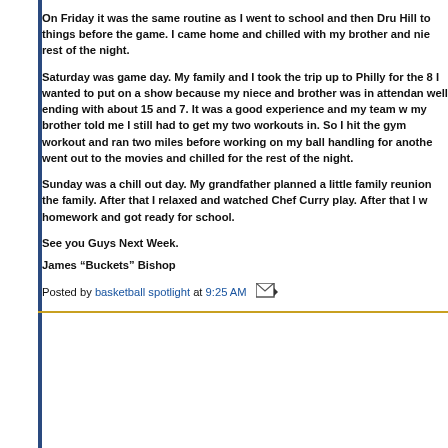On Friday it was the same routine as I went to school and then Dru Hill to things before the game. I came home and chilled with my brother and niece for the rest of the night.
Saturday was game day. My family and I took the trip up to Philly for the game. I wanted to put on a show because my niece and brother was in attendance. I played well ending with about 15 and 7. It was a good experience and my team won. After the game my brother told me I still had to get my two workouts in. So I hit the gym to get my first workout and ran two miles before working on my ball handling for another hour. That night I went out to the movies and chilled for the rest of the night.
Sunday was a chill out day. My grandfather planned a little family reunion so I enjoyed the family. After that I relaxed and watched Chef Curry play. After that I went in and did my homework and got ready for school.
See you Guys Next Week.
James “Buckets” Bishop
Posted by basketball spotlight at 9:25 AM